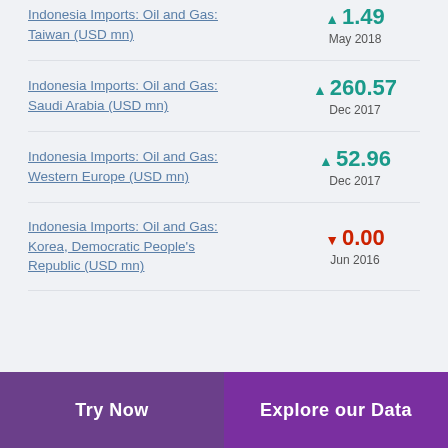Indonesia Imports: Oil and Gas: Taiwan (USD mn)
Indonesia Imports: Oil and Gas: Saudi Arabia (USD mn)
Indonesia Imports: Oil and Gas: Western Europe (USD mn)
Indonesia Imports: Oil and Gas: Korea, Democratic People's Republic (USD mn)
Try Now | Explore our Data